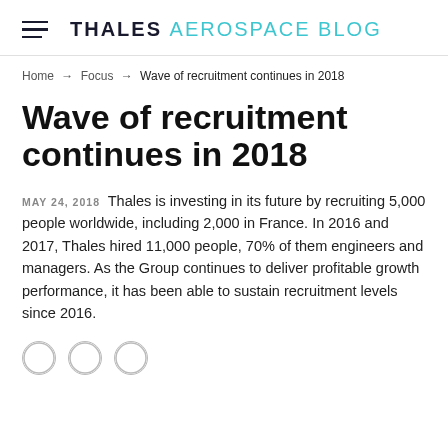THALES AEROSPACE BLOG
Home → Focus → Wave of recruitment continues in 2018
Wave of recruitment continues in 2018
MAY 24, 2018  Thales is investing in its future by recruiting 5,000 people worldwide, including 2,000 in France. In 2016 and 2017, Thales hired 11,000 people, 70% of them engineers and managers. As the Group continues to deliver profitable growth performance, it has been able to sustain recruitment levels since 2016.